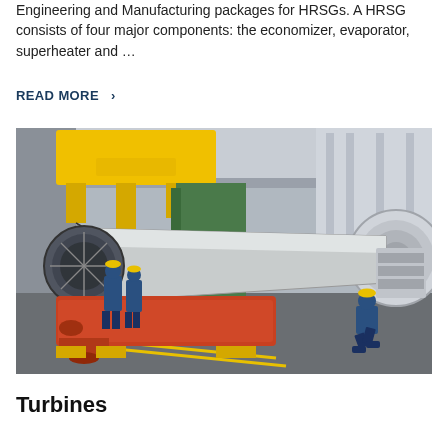Engineering and Manufacturing packages for HRSGs. A HRSG consists of four major components: the economizer, evaporator, superheater and …
READ MORE  >
[Figure (photo): Industrial photo of workers in blue overalls and yellow hard hats inspecting or assembling a large gas turbine in a factory/warehouse setting. A yellow crane is visible in the background. The turbine rotor and casing components are prominently displayed.]
Turbines